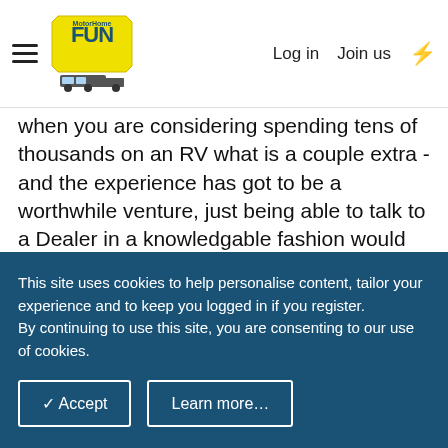MotorHome Fun | Log in | Join us
when you are considering spending tens of thousands on an RV what is a couple extra - and the experience has got to be a worthwhile venture, just being able to talk to a Dealer in a knowledgable fashion would probably help you to beat the price down by the cost of your American Trip!
Subscribers do not see these advertisements
Reply
mondibumph
This site uses cookies to help personalise content, tailor your experience and to keep you logged in if you register.
By continuing to use this site, you are consenting to our use of cookies.